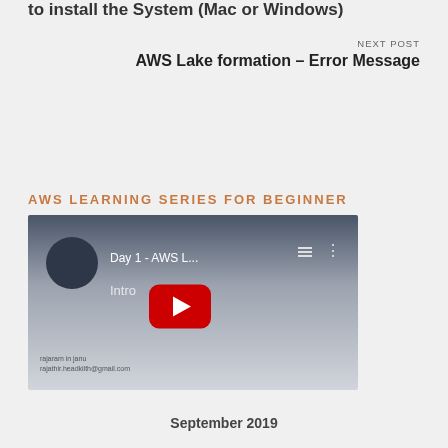to install the System (Mac or Windows)
NEXT POST
AWS Lake formation – Error Message
AWS LEARNING SERIES FOR BEGINNER
[Figure (screenshot): YouTube video thumbnail showing 'Day 1 - AWS L...' with play button and text 'Intro... AWS'. Dark header area with circle icon, video title, playlist and menu icons. Red YouTube play button centered. Footer text with name and email.]
September 2019